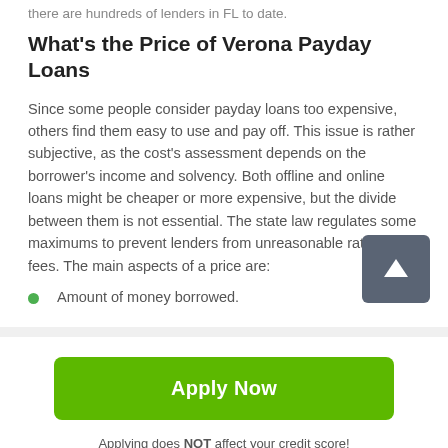there are hundreds of lenders in FL to date.
What's the Price of Verona Payday Loans
Since some people consider payday loans too expensive, others find them easy to use and pay off. This issue is rather subjective, as the cost's assessment depends on the borrower's income and solvency. Both offline and online loans might be cheaper or more expensive, but the divide between them is not essential. The state law regulates some maximums to prevent lenders from unreasonable rates and fees. The main aspects of a price are:
Amount of money borrowed.
Apply Now
Applying does NOT affect your credit score!
No credit check to apply.